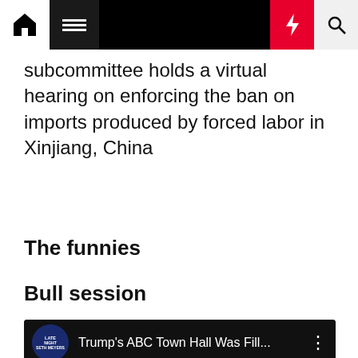Navigation bar with home, menu, moon/night mode, lightning/breaking news, and search icons
subcommittee holds a virtual hearing on enforcing the ban on imports produced by forced labor in Xinjiang, China
The funnies
Bull session
[Figure (screenshot): Embedded YouTube video player showing a Late Night video titled "Trump's ABC Town Hall Was Fill..." with channel logo and three-dot menu icon, video content area is black]